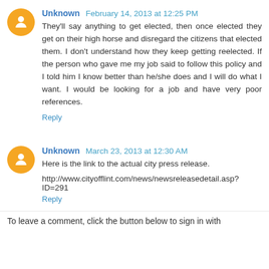Unknown February 14, 2013 at 12:25 PM
They'll say anything to get elected, then once elected they get on their high horse and disregard the citizens that elected them. I don't understand how they keep getting reelected. If the person who gave me my job said to follow this policy and I told him I know better than he/she does and I will do what I want. I would be looking for a job and have very poor references.
Reply
Unknown March 23, 2013 at 12:30 AM
Here is the link to the actual city press release.
http://www.cityofflint.com/news/newsreleasedetail.asp?ID=291
Reply
To leave a comment, click the button below to sign in with Google.